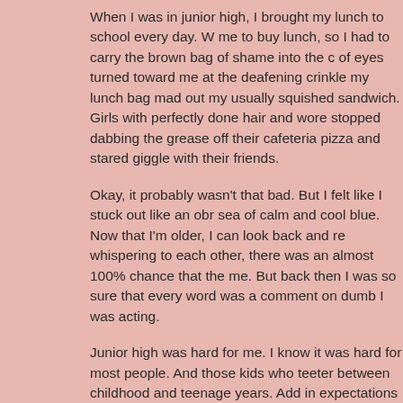When I was in junior high, I brought my lunch to school every day. W me to buy lunch, so I had to carry the brown bag of shame into the c of eyes turned toward me at the deafening crinkle my lunch bag mad out my usually squished sandwich. Girls with perfectly done hair and wore stopped dabbing the grease off their cafeteria pizza and stared giggle with their friends.
Okay, it probably wasn't that bad. But I felt like I stuck out like an obr sea of calm and cool blue. Now that I'm older, I can look back and re whispering to each other, there was an almost 100% chance that the me. But back then I was so sure that every word was a comment on dumb I was acting.
Junior high was hard for me. I know it was hard for most people. And those kids who teeter between childhood and teenage years. Add in expectations built up by the entertainment culture and our kids have them.
My heart is so tender toward tweens. The thought of what they are fa stories for them. I want so badly to save them from the awkward pair encounter, but I know that is unrealistic. Since my stories can't save three things: